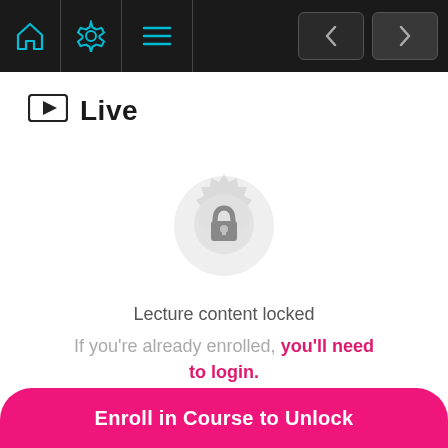[Figure (screenshot): Dark top navigation bar with home icon, settings/gear icon, menu/hamburger icon (separated by vertical border), and left/right navigation arrow buttons on the right side]
Live
[Figure (illustration): Circular badge/seal with a lock icon in the center, indicating locked content]
Lecture content locked
If you're already enrolled, you'll need to login.
Enroll in Course to Unlock